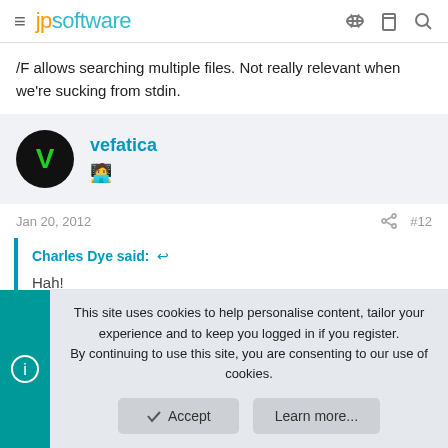jpsoftware
/F allows searching multiple files. Not really relevant when we're sucking from stdin.
vefatica
Jan 20, 2012  #12
Charles Dye said: ↩
Hah!
This site uses cookies to help personalise content, tailor your experience and to keep you logged in if you register.
By continuing to use this site, you are consenting to our use of cookies.